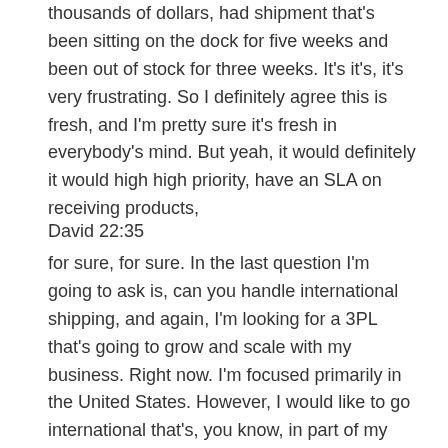thousands of dollars, had shipment that's been sitting on the dock for five weeks and been out of stock for three weeks. It's it's, it's very frustrating. So I definitely agree this is fresh, and I'm pretty sure it's fresh in everybody's mind. But yeah, it would definitely it would high high priority, have an SLA on receiving products,
David 22:35
for sure, for sure. In the last question I'm going to ask is, can you handle international shipping, and again, I'm looking for a 3PL that's going to grow and scale with my business. Right now. I'm focused primarily in the United States. However, I would like to go international that's, you know, in part of my game plan for the next year, is to expand into Europe in the UK. And you know, this To me, it's not going to necessarily be a deal breaker. But to the extent that the 3PL said, Oh, yeah, we've got, you know, we're a global company. And we've got, you know, we've got a ton of